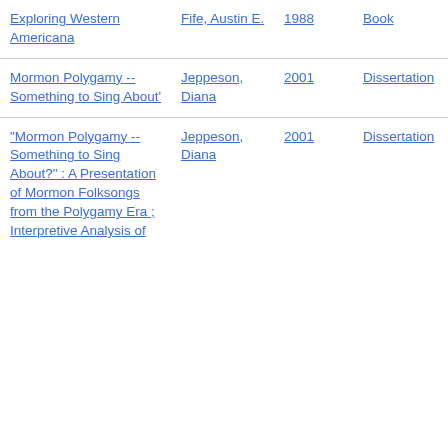| Exploring Western Americana | Fife, Austin E. | 1988 | Book |
| Mormon Polygamy -- Something to Sing About' | Jeppeson, Diana | 2001 | Dissertation |
| "Mormon Polygamy -- Something to Sing About?" : A Presentation of Mormon Folksongs from the Polygamy Era ; Interpretive Analysis of | Jeppeson, Diana | 2001 | Dissertation |